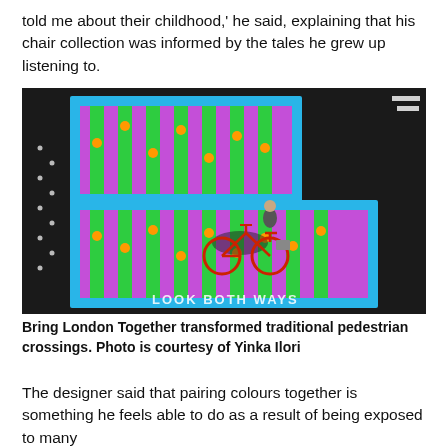told me about their childhood,' he said, explaining that his chair collection was informed by the tales he grew up listening to.
[Figure (photo): Aerial view of colorful pedestrian crossings painted with bright pink, green, blue, and orange patterns on dark asphalt. A cyclist rides across one of the crossings. Text 'LOOK BOTH WAYS' is painted on the road surface.]
Bring London Together transformed traditional pedestrian crossings. Photo is courtesy of Yinka Ilori
The designer said that pairing colours together is something he feels able to do as a result of being exposed to many